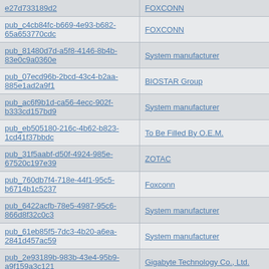| ID | Manufacturer |
| --- | --- |
| e27d733189d2 | FOXCONN |
| pub_c4cb84fc-b669-4e93-b682-65a653770cdc | FOXCONN |
| pub_81480d7d-a5f8-4146-8b4b-83e0c9a0360e | System manufacturer |
| pub_07ecd96b-2bcd-43c4-b2aa-885e1ad2a9f1 | BIOSTAR Group |
| pub_ac6f9b1d-ca56-4ecc-902f-b333cd157bd9 | System manufacturer |
| pub_eb505180-216c-4b62-b823-1cd41f37bbdc | To Be Filled By O.E.M. |
| pub_31f5aabf-d50f-4924-985e-67520c197e39 | ZOTAC |
| pub_760db7f4-718e-44f1-95c5-b6714b1c5237 | Foxconn |
| pub_6422acfb-78e5-4987-95c6-866d8f32c0c3 | System manufacturer |
| pub_61eb85f5-7dc3-4b20-a6ea-2841d457ac59 | System manufacturer |
| pub_2e93189b-983b-43e4-95b9-a9f159a3c121 | Gigabyte Technology Co., Ltd. |
| pub_b1a620fa-f365-40e6-9a7d-8b07399aa5c1 | To Be Filled By O.E.M. |
| pub_e14a3513-8bf2-4d3b-b62a-2d142f4ab7ba | System manufacturer |
| pub_87aea8de-cffa-448d-a545-4763d67ba55f | Gigabyte Technology Co., Ltd. |
| pub_a44b2360-0480-4e26-b1b4- |  |